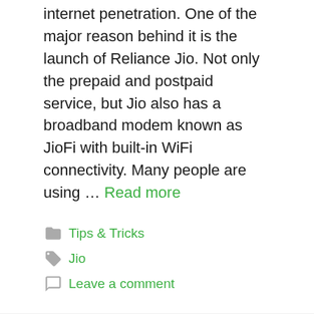internet penetration. One of the major reason behind it is the launch of Reliance Jio. Not only the prepaid and postpaid service, but Jio also has a broadband modem known as JioFi with built-in WiFi connectivity. Many people are using … Read more
Tips & Tricks
Jio
Leave a comment
Jio Giga Fiber Customer Care: How to Contact Customer